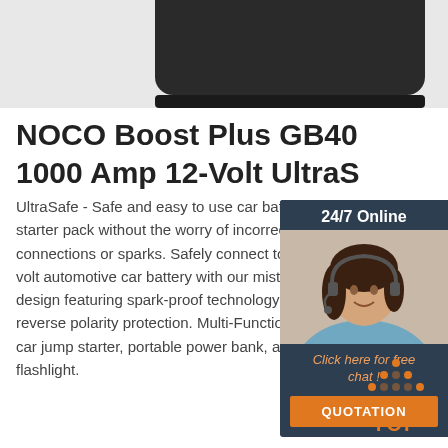[Figure (photo): Partial product photo showing the top of a black NOCO Boost Plus GB40 jump starter device against a light gray background]
NOCO Boost Plus GB40 1000 Amp 12-Volt UltraS
UltraSafe - Safe and easy to use car batte starter pack without the worry of incorrect connections or sparks. Safely connect to a volt automotive car battery with our mistak design featuring spark-proof technology ar reverse polarity protection. Multi-Function car jump starter, portable power bank, and flashlight.
[Figure (photo): Customer service widget showing a woman with a headset, labeled 24/7 Online, with a Click here for free chat! prompt and a QUOTATION button]
Get Price
[Figure (other): TOP button graphic with orange dot pattern above the word TOP in orange bold text]